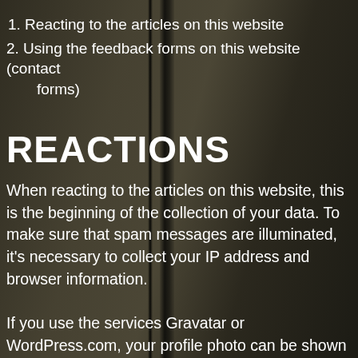1. Reacting to the articles on this website
2. Using the feedback forms on this website (contact forms)
REACTIONS
When reacting to the articles on this website, this is the beginning of the collection of your data. To make sure that spam messages are illuminated, it's necessary to collect your IP address and browser information.
If you use the services Gravatar or WordPress.com, your profile photo can be shown with your reaction. An anonymised string based on the email address is made. This string is sent to Gravatar and/or WordPress. These services